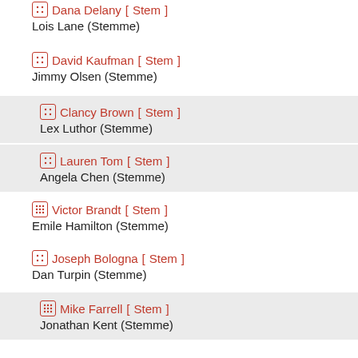Dana Delany [Stem] / Lois Lane (Stemme)
David Kaufman [Stem] / Jimmy Olsen (Stemme)
Clancy Brown [Stem] / Lex Luthor (Stemme)
Lauren Tom [Stem] / Angela Chen (Stemme)
Victor Brandt [Stem] / Emile Hamilton (Stemme)
Joseph Bologna [Stem] / Dan Turpin (Stemme)
Mike Farrell [Stem] / Jonathan Kent (Stemme)